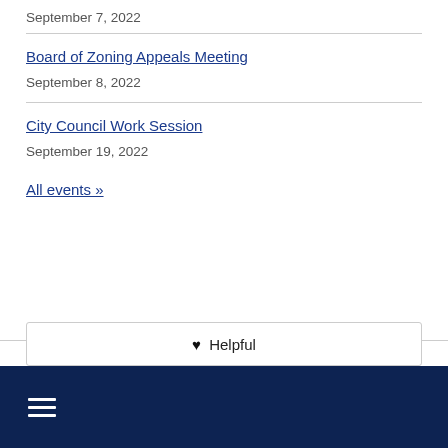September 7, 2022
Board of Zoning Appeals Meeting
September 8, 2022
City Council Work Session
September 19, 2022
All events »
♥ Helpful